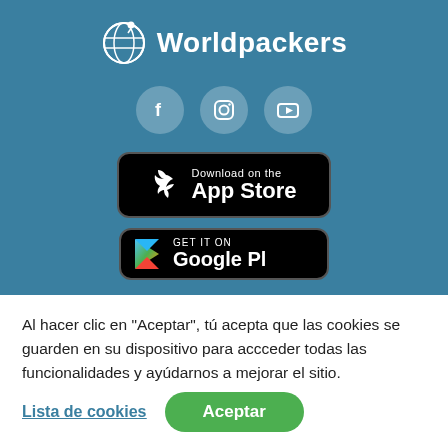[Figure (logo): Worldpackers logo with globe icon and bold white text 'Worldpackers' on teal background, with social media icons (Facebook, Instagram, YouTube) below and App Store and Google Play download buttons]
Al hacer clic en “Aceptar”, tú acepta que las cookies se guarden en su dispositivo para accceder todas las funcionalidades y ayúdárnos a mejorar el sitio.
Lista de cookies
Aceptar